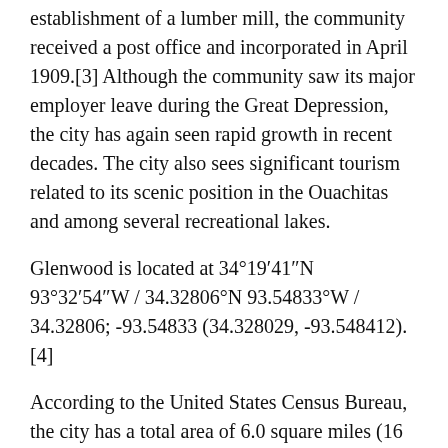establishment of a lumber mill, the community received a post office and incorporated in April 1909.[3] Although the community saw its major employer leave during the Great Depression, the city has again seen rapid growth in recent decades. The city also sees significant tourism related to its scenic position in the Ouachitas and among several recreational lakes.
Glenwood is located at 34°19′41″N 93°32′54″W / 34.32806°N 93.54833°W / 34.32806; -93.54833 (34.328029, -93.548412). [4]
According to the United States Census Bureau, the city has a total area of 6.0 square miles (16 km2), of which 5.64 square miles (14.6 km2) is land and 0.36% is water.
At the 2000 census,[7] there were 1,751 people, 696 households and 446 families residing in the city. The population density was 630.5 per square mile (243.2/km²). There were 775 housing units at an average density of